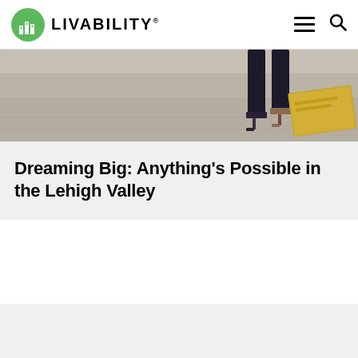LIVABILITY
[Figure (photo): Partial view of a person's legs and feet wearing heels, walking on pavement near a golden sign]
Dreaming Big: Anything's Possible in the Lehigh Valley